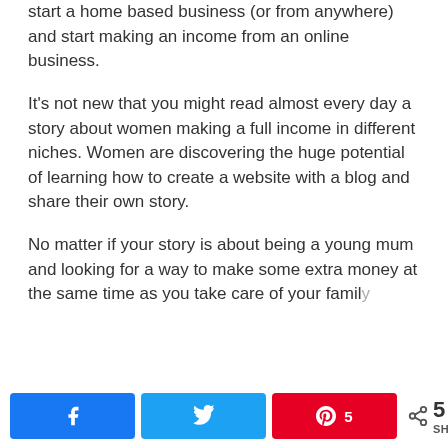start a home based business (or from anywhere) and start making an income from an online business.
It's not new that you might read almost every day a story about women making a full income in different niches. Women are discovering the huge potential of learning how to create a website with a blog and share their own story.
No matter if your story is about being a young mum and looking for a way to make some extra money at the same time as you take care of your family.
[Figure (infographic): Social sharing bar with Facebook, Twitter, Pinterest buttons and a share count of 5]